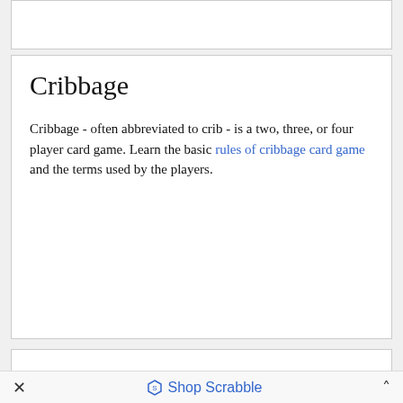Cribbage
Cribbage - often abbreviated to crib - is a two, three, or four player card game. Learn the basic rules of cribbage card game and the terms used by the players.
Pub Quizzes
As a rule, pub quizzes and quiz trivia nights take place inside a public house or a bar. The guide
× Shop Scrabble ^